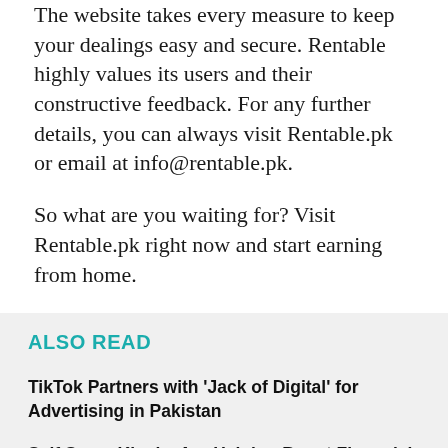The website takes every measure to keep your dealings easy and secure. Rentable highly values its users and their constructive feedback. For any further details, you can always visit Rentable.pk or email at info@rentable.pk.
So what are you waiting for? Visit Rentable.pk right now and start earning from home.
ALSO READ
TikTok Partners with 'Jack of Digital' for Advertising in Pakistan
Self Serve Kiosks Are Helping Boost Financial Inclusion in Pakistan